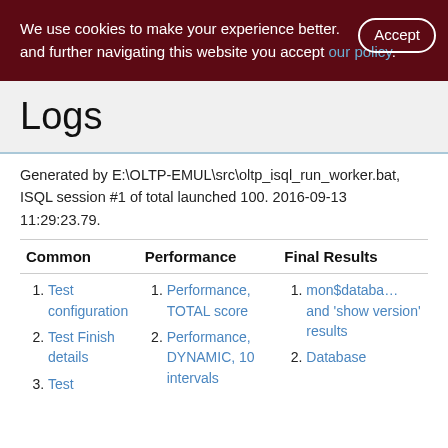We use cookies to make your experience better. By using and further navigating this website you accept our policy.
Logs
Generated by E:\OLTP-EMUL\src\oltp_isql_run_worker.bat, ISQL session #1 of total launched 100. 2016-09-13 11:29:23.79.
| Common | Performance | Final Results |
| --- | --- | --- |
| 1. Test configuration
2. Test Finish details
3. Test | 1. Performance, TOTAL score
2. Performance, DYNAMIC, 10 intervals | 1. mon$database and 'show version' results
2. Database |